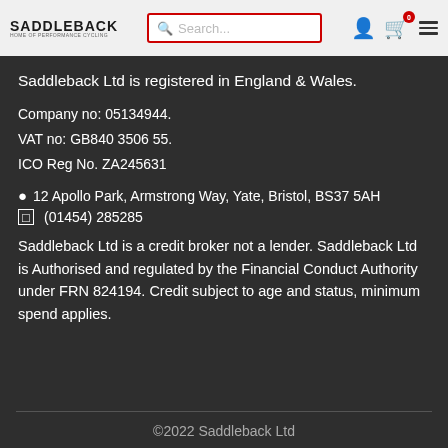SADDLEBACK — Home of Performance Cycling [header with search bar and icons]
Saddleback Ltd is registered in England & Wales.
Company no: 05134944.
VAT no: GB840 3506 55.
ICO Reg No. ZA245631
📍 12 Apollo Park, Armstrong Way, Yate, Bristol, BS37 5AH
📞 (01454) 285285
Saddleback Ltd is a credit broker not a lender. Saddleback Ltd is Authorised and regulated by the Financial Conduct Authority under FRN 824194. Credit subject to age and status, minimum spend applies.
©2022 Saddleback Ltd